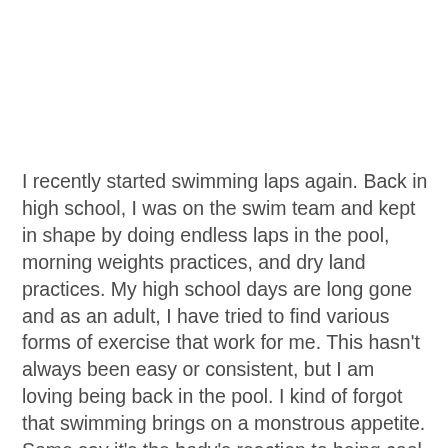I recently started swimming laps again. Back in high school, I was on the swim team and kept in shape by doing endless laps in the pool, morning weights practices, and dry land practices. My high school days are long gone and as an adult, I have tried to find various forms of exercise that work for me. This hasn't always been easy or consistent, but I am loving being back in the pool. I kind of forgot that swimming brings on a monstrous appetite. Some say it's the body's reaction to being cool, but I like to think it is because of the immense calorie burn of the exercise. Either way, I am stocking up my kitchen with healthy prepared foods so that when I get home late at night, I don't turn to take out or junk food. A little bit of prep for this salad, left me with a week's worth of this hearty, yet light salad, that made a great post